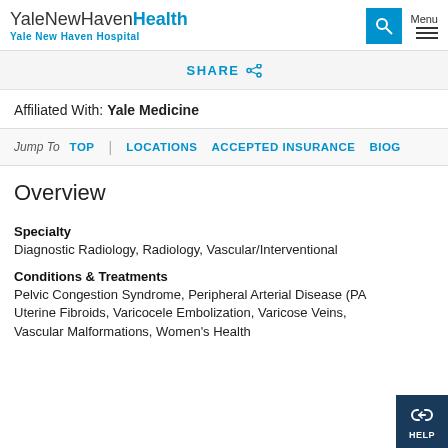YaleNewHavenHealth Yale New Haven Hospital
SHARE
Affiliated With: Yale Medicine
Jump To  TOP  |  LOCATIONS  ACCEPTED INSURANCE  BIOG...
Overview
Specialty
Diagnostic Radiology, Radiology, Vascular/Interventional
Conditions & Treatments
Pelvic Congestion Syndrome, Peripheral Arterial Disease (PA...), Uterine Fibroids, Varicocele Embolization, Varicose Veins, Vascular Malformations, Women's Health